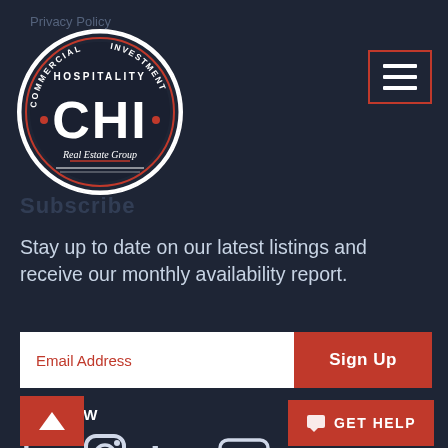Privacy Policy
[Figure (logo): CHI Real Estate Group circular logo with text COMMERCIAL INVESTMENT HOSPITALITY around CHI letters in center]
[Figure (other): Hamburger menu button with three horizontal lines, outlined in red/orange border]
Subscribe
Stay up to date on our latest listings and receive our monthly availability report.
Email Address
Sign Up
FOLLOW
[Figure (other): Social media icons: Facebook, Instagram, LinkedIn, YouTube]
[Figure (other): Back to top arrow button in red]
GET HELP